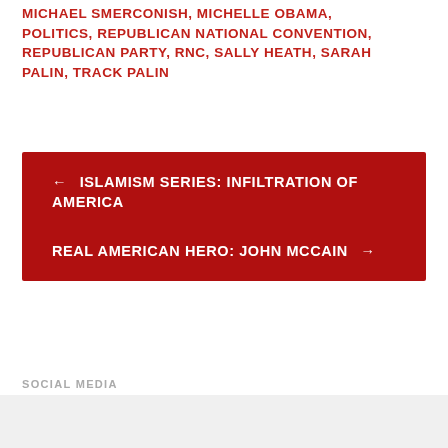MICHAEL SMERCONISH, MICHELLE OBAMA, POLITICS, REPUBLICAN NATIONAL CONVENTION, REPUBLICAN PARTY, RNC, SALLY HEATH, SARAH PALIN, TRACK PALIN
← ISLAMISM SERIES: INFILTRATION OF AMERICA
REAL AMERICAN HERO: JOHN MCCAIN →
SOCIAL MEDIA
Advertisements